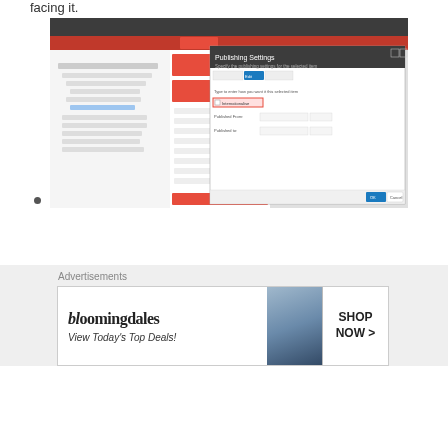facing it.
[Figure (screenshot): Screenshot of Sitecore Publishing Settings dialog with 'Internationalise' checkbox checked, shown within the Sitecore CMS interface.]
•
Happy Sitecore Workaround!
Advertisements
[Figure (photo): Bloomingdales advertisement banner: 'bloomingdales - View Today's Top Deals!' with SHOP NOW > button and woman with hat photo.]